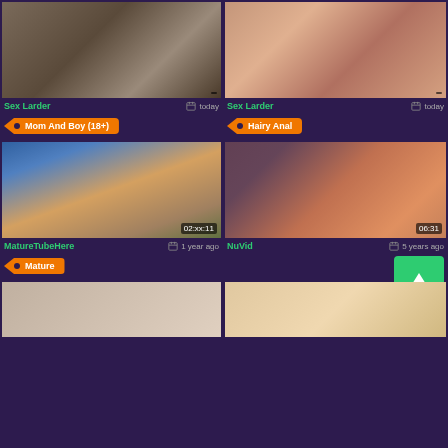[Figure (screenshot): Top-left video thumbnail]
Sex Larder
today
Mom And Boy (18+)
[Figure (screenshot): Top-right video thumbnail]
Sex Larder
today
Hairy Anal
[Figure (screenshot): Mid-left video thumbnail with duration 02:xx:11]
MatureTubeHere
1 year ago
Mature
[Figure (screenshot): Mid-right video thumbnail with duration 06:31]
NuVid
5 years ago
[Figure (screenshot): Bottom-left video thumbnail (partial)]
[Figure (screenshot): Bottom-right video thumbnail (partial, blonde)]